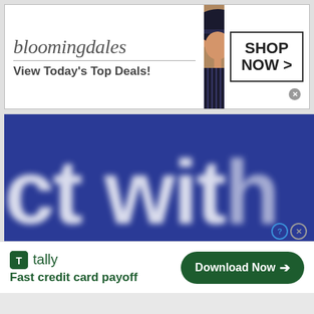[Figure (screenshot): Bloomingdale's advertisement banner with logo, tagline 'View Today's Top Deals!', fashion model photo, and 'SHOP NOW >' button]
[Figure (screenshot): Blue background advertisement with large blurred white text reading 'ct with' (partial text visible)]
[Figure (screenshot): Tally app advertisement with green logo, tagline 'Fast credit card payoff', and 'Download Now >' green button]